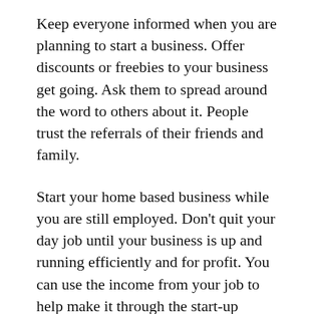Keep everyone informed when you are planning to start a business. Offer discounts or freebies to your business get going. Ask them to spread around the word to others about it. People trust the referrals of their friends and family.
Start your home based business while you are still employed. Don’t quit your day job until your business is up and running efficiently and for profit. You can use the income from your job to help make it through the start-up period until your new venture becomes profitable.
Before you start your home business, set up a well-stocked office. It will be hard to remain